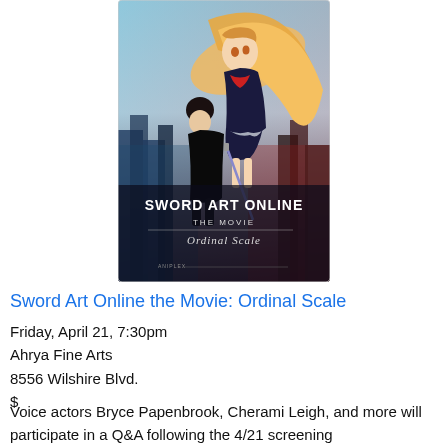[Figure (illustration): Movie poster for Sword Art Online The Movie: Ordinal Scale. Shows two anime characters — a girl with long flowing blonde-orange hair and a boy in dark clothes holding a sword — standing in front of a futuristic city skyline. Text on poster reads 'SWORD ART ONLINE THE MOVIE Ordinal Scale'.]
Sword Art Online the Movie: Ordinal Scale
Friday, April 21, 7:30pm
Ahrya Fine Arts
8556 Wilshire Blvd.
$
Voice actors Bryce Papenbrook, Cherami Leigh, and more will participate in a Q&A following the 4/21 screening